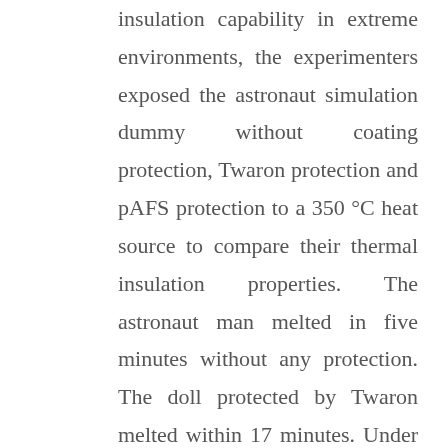insulation capability in extreme environments, the experimenters exposed the astronaut simulation dummy without coating protection, Twaron protection and pAFS protection to a 350 °C heat source to compare their thermal insulation properties. The astronaut man melted in five minutes without any protection. The doll protected by Twaron melted within 17 minutes. Under the protection of pAFS material, it did not melt after 30 minutes under high temperature, which further verified its thermal insulation capability. These two features of the nanoscale Kevlar make it a natural fit for a space suit.In the future, and it will play an important role in many fields, including